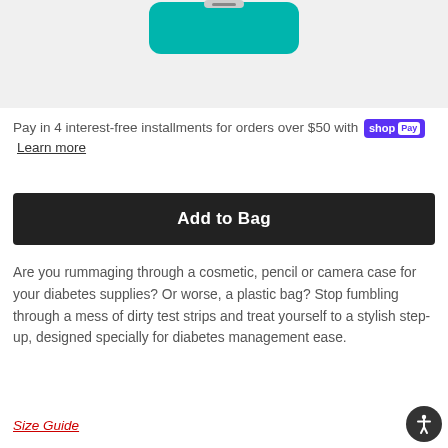[Figure (photo): Product photo of a teal/turquoise rectangular case (diabetes supplies case) on a light gray background, partially cut off at the top]
Pay in 4 interest-free installments for orders over $50 with shop Pay Learn more
Add to Bag
Are you rummaging through a cosmetic, pencil or camera case for your diabetes supplies? Or worse, a plastic bag? Stop fumbling through a mess of dirty test strips and treat yourself to a stylish step-up, designed specially for diabetes management ease.
Size Guide